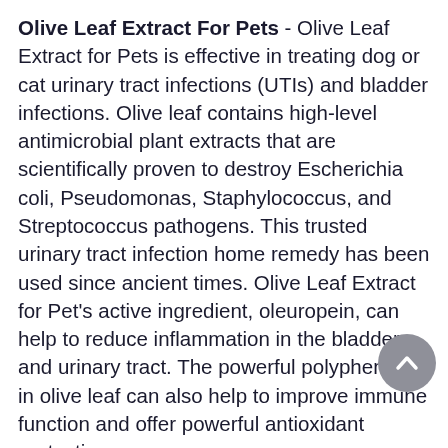Olive Leaf Extract For Pets - Olive Leaf Extract for Pets is effective in treating dog or cat urinary tract infections (UTIs) and bladder infections. Olive leaf contains high-level antimicrobial plant extracts that are scientifically proven to destroy Escherichia coli, Pseudomonas, Staphylococcus, and Streptococcus pathogens. This trusted urinary tract infection home remedy has been used since ancient times. Olive Leaf Extract for Pet's active ingredient, oleuropein, can help to reduce inflammation in the bladder and urinary tract. The powerful polyphenols in olive leaf can also help to improve immune function and offer powerful antioxidant protection.
Akutur UTI Support Drops - This product promotes healing of the urinary tract and bladder. It provides pain relief in the urinary tract, reduces inflammation